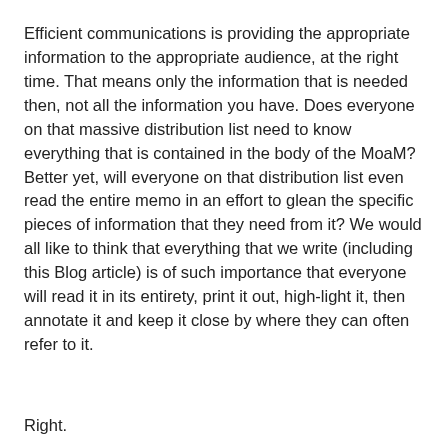Efficient communications is providing the appropriate information to the appropriate audience, at the right time. That means only the information that is needed then, not all the information you have. Does everyone on that massive distribution list need to know everything that is contained in the body of the MoaM? Better yet, will everyone on that distribution list even read the entire memo in an effort to glean the specific pieces of information that they need from it? We would all like to think that everything that we write (including this Blog article) is of such importance that everyone will read it in its entirety, print it out, high-light it, then annotate it and keep it close by where they can often refer to it.
Right.